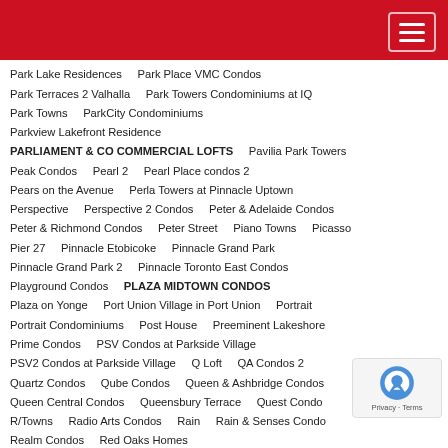Park Avenue Place Condos   Park District Towns
Park Lake Residences   Park Place VMC Condos
Park Terraces 2 Valhalla   Park Towers Condominiums at IQ
Park Towns   ParkCity Condominiums
Parkview Lakefront Residence
PARLIAMENT & CO COMMERCIAL LOFTS   Pavilia Park Towers
Peak Condos   Pearl 2   Pearl Place condos 2
Pears on the Avenue   Perla Towers at Pinnacle Uptown
Perspective   Perspective 2 Condos   Peter & Adelaide Condos
Peter & Richmond Condos   Peter Street   Piano Towns   Picasso
Pier 27   Pinnacle Etobicoke   Pinnacle Grand Park
Pinnacle Grand Park 2   Pinnacle Toronto East Condos
Playground Condos   PLAZA MIDTOWN CONDOS
Plaza on Yonge   Port Union Village in Port Union   Portrait
Portrait Condominiums   Post House   Preeminent Lakeshore
Prime Condos   PSV Condos at Parkside Village
PSV2 Condos at Parkside Village   Q Loft   QA Condos 2
Quartz Condos   Qube Condos   Queen & Ashbridge Condos
Queen Central Condos   Queensbury Terrace   Quest Condo
R/Towns   Radio Arts Condos   Rain   Rain & Senses Condos
Realm Condos   Red Oaks Homes
REFLECTIONS Residences at Don Mills   Reina Condos
Renaissance in Olde Brampton   Renaissance of Richmond Hill